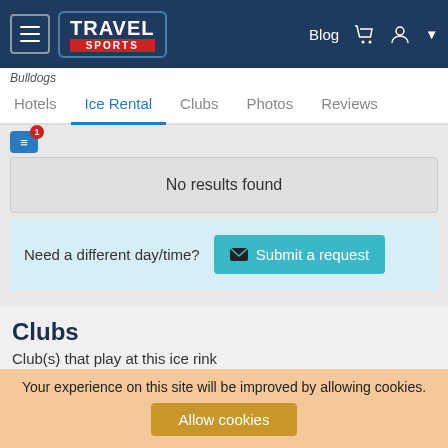[Figure (screenshot): Travel Sports website navigation bar with hamburger menu, Travel Sports logo, Blog link, cart icon, and user icon on dark blue background]
Bulldogs
Hotels  Ice Rental  Clubs  Photos  Reviews
No results found
Need a different day/time?  Submit a request
Clubs
Club(s) that play at this ice rink
Cedarburg Bulldogs High School
Your experience on this site will be improved by allowing cookies.
Allow cookies